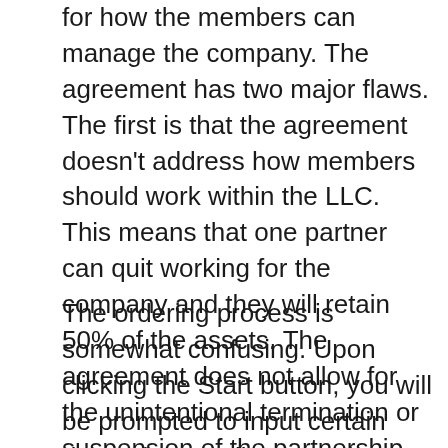for how the members can manage the company. The agreement has two major flaws. The first is that the agreement doesn't address how members should work within the LLC. This means that one partner can quit working for the company and they will retain 50% of the assets. The agreement does not allow for the unintentional termination or suspension of the partnership.
The ordering process is somewhat confusing. Upon clicking the Start button, you will be prompted to input certain data. The upsell may end up costing you more than you originally expected. This is a complicated process. LegalZoom's turnaround times vary depending on the package and state. The most basic package can take up to 30 days.